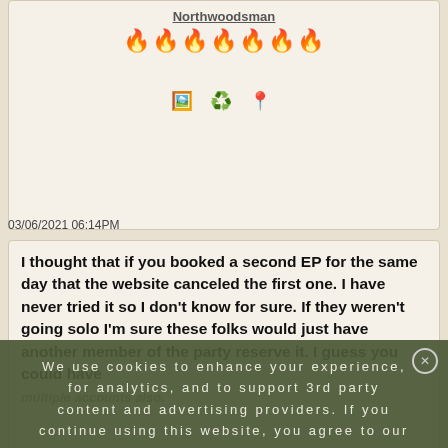Northwoodsman
[Figure (illustration): Row of seven orange flame/fire emojis]
[Figure (illustration): Three icons: landscape image emoji, recycling/leaf emoji, location pin emoji]
03/06/2021 06:14PM
I thought that if you booked a second EP for the same day that the website canceled the first one. I have never tried it so I don't know for sure. If they weren't going solo I'm sure these folks would just have another member of the party reserve it. I guess you could have multiple accounts also.
We use cookies to enhance your experience, for analytics, and to support 3rd party content and advertising providers. If you continue using this website, you agree to our privacy and legal agreement.
Ok